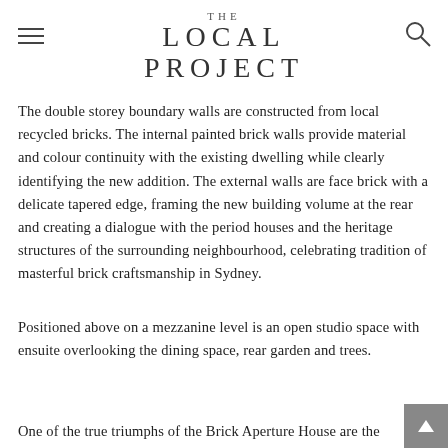THE LOCAL PROJECT
The double storey boundary walls are constructed from local recycled bricks. The internal painted brick walls provide material and colour continuity with the existing dwelling while clearly identifying the new addition. The external walls are face brick with a delicate tapered edge, framing the new building volume at the rear and creating a dialogue with the period houses and the heritage structures of the surrounding neighbourhood, celebrating tradition of masterful brick craftsmanship in Sydney.
Positioned above on a mezzanine level is an open studio space with ensuite overlooking the dining space, rear garden and trees.
One of the true triumphs of the Brick Aperture House are the